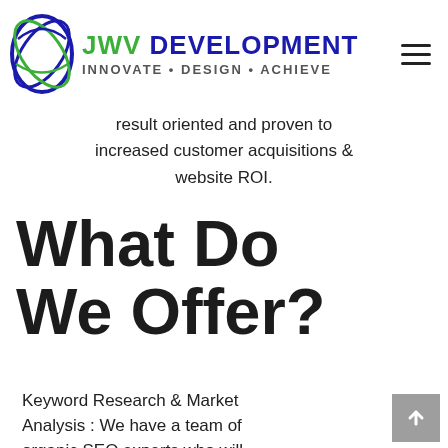JWV DEVELOPMENT INNOVATE • DESIGN • ACHIEVE
result oriented and proven to increased customer acquisitions & website ROI.
What Do We Offer?
Keyword Research & Market Analysis : We have a team of organic SEO experts who will